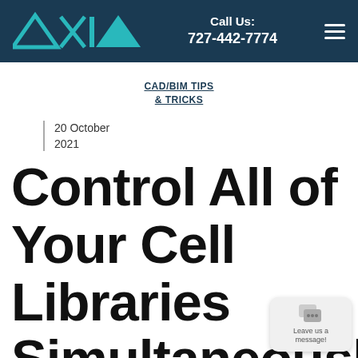AXIOM™  |  Call Us: 727-442-7774
CAD/BIM TIPS & TRICKS
20 October 2021
Control All of Your Cell Libraries Simultaneously